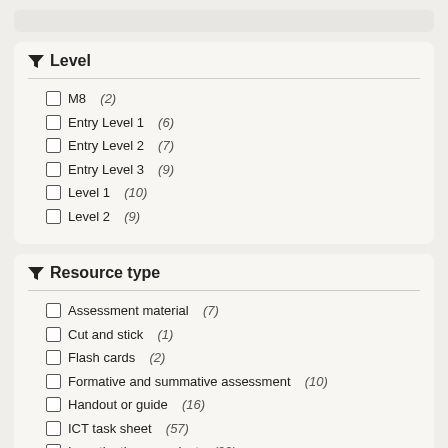Level
M8 (2)
Entry Level 1 (6)
Entry Level 2 (7)
Entry Level 3 (9)
Level 1 (10)
Level 2 (9)
Resource type
Assessment material (7)
Cut and stick (1)
Flash cards (2)
Formative and summative assessment (10)
Handout or guide (16)
ICT task sheet (57)
Investigation or project (22)
Listening and/or speaking activity (6)
Self-assessment and reflection (1)